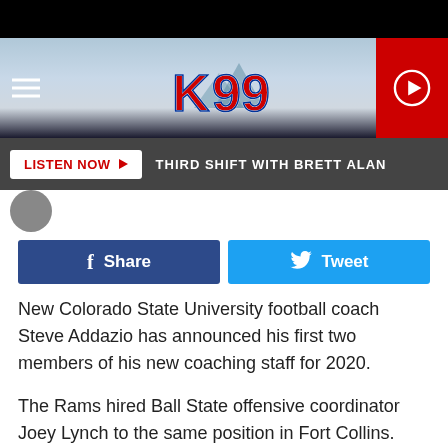[Figure (logo): K99 radio station header with logo, hamburger menu, and play button]
LISTEN NOW ▶  THIRD SHIFT WITH BRETT ALAN
[Figure (infographic): Facebook Share and Twitter Tweet social sharing buttons]
New Colorado State University football coach Steve Addazio has announced his first two members of his new coaching staff for 2020.
The Rams hired Ball State offensive coordinator Joey Lynch to the same position in Fort Collins.
Addazio also brought his Boston College running backs coach Brian White with to CSU as senior associate head